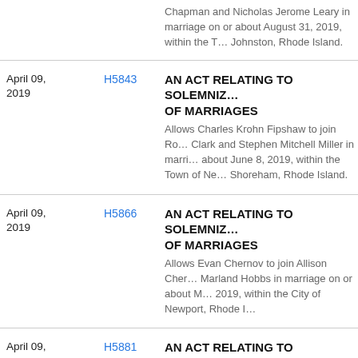Chapman and Nicholas Jerome Leary in marriage on or about August 31, 2019, within the Town of Johnston, Rhode Island.
April 09, 2019 | H5843 | AN ACT RELATING TO SOLEMNIZATION OF MARRIAGES - Allows Charles Krohn Fipshaw to join Robert Clark and Stephen Mitchell Miller in marriage on or about June 8, 2019, within the Town of New Shoreham, Rhode Island.
April 09, 2019 | H5866 | AN ACT RELATING TO SOLEMNIZATION OF MARRIAGES - Allows Evan Chernov to join Allison Chernov and Marland Hobbs in marriage on or about May 2019, within the City of Newport, Rhode Island.
April 09, 2019 | H5881 | AN ACT RELATING TO SOLEMNIZATION OF MARRIAGES - Allows Andrew James Bucci to join Nicole Bucci and Daniel Michael MacDonald in marriage.